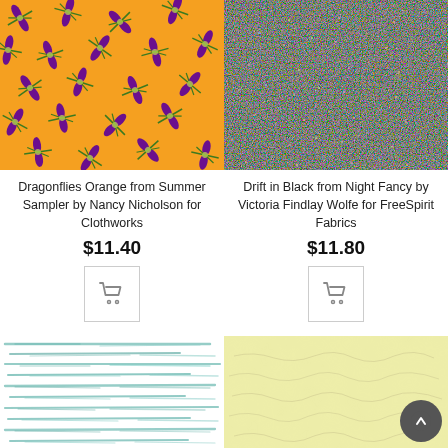[Figure (photo): Dragonflies pattern on orange background fabric swatch]
[Figure (photo): Drift in Black Night Fancy fabric - dense black with colourful dot texture]
Dragonflies Orange from Summer Sampler by Nancy Nicholson for Clothworks
Drift in Black from Night Fancy by Victoria Findlay Wolfe for FreeSpirit Fabrics
$11.40
$11.80
[Figure (illustration): Shopping cart icon button for Dragonflies Orange]
[Figure (illustration): Shopping cart icon button for Drift in Black]
[Figure (photo): Teal horizontal watercolor brushstroke lines fabric swatch]
[Figure (photo): Pale yellow textured fabric swatch]